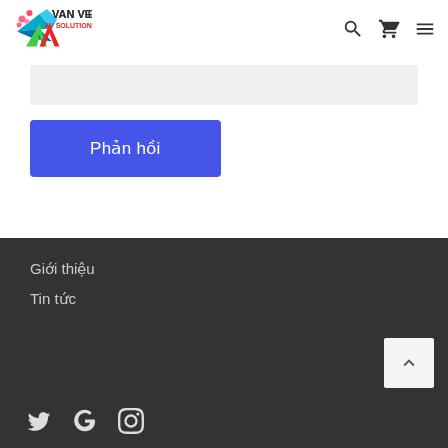VanViet AV Solution
Phản hồi
Giới thiệu
Tin tức